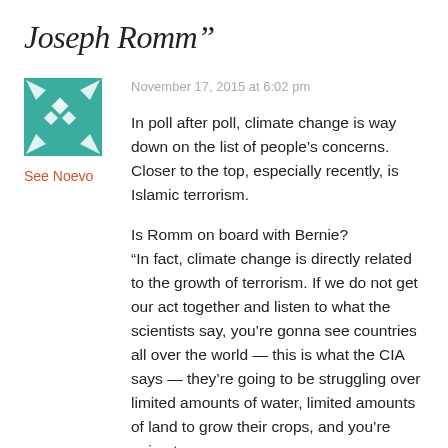Joseph Romm”
[Figure (illustration): Teal/turquoise geometric avatar icon with diamond shapes and arrow-like corner motifs on a square background]
See Noevo
November 17, 2015 at 6:02 pm
In poll after poll, climate change is way down on the list of people’s concerns. Closer to the top, especially recently, is Islamic terrorism.

Is Romm on board with Bernie?
“In fact, climate change is directly related to the growth of terrorism. If we do not get our act together and listen to what the scientists say, you’re gonna see countries all over the world — this is what the CIA says — they’re going to be struggling over limited amounts of water, limited amounts of land to grow their crops, and you’re going to see